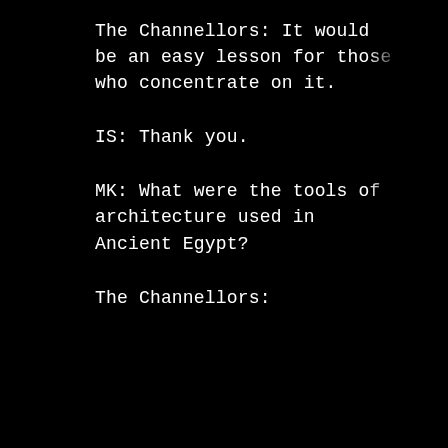The Channellors: It would be an easy lesson for those who concentrate on it.
IS: Thank you.
MK: What were the tools of architecture used in Ancient Egypt?
The Channellors: